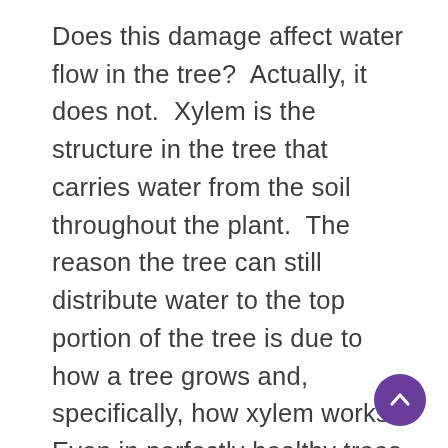Does this damage affect water flow in the tree?  Actually, it does not.  Xylem is the structure in the tree that carries water from the soil throughout the plant.  The reason the tree can still distribute water to the top portion of the tree is due to how a tree grows and, specifically, how xylem works.  Even in perfectly healthy trees, most of the xylem is dead. Portions of this dead xylem forms hollow tubes that carry the vast majority of water and nutrients throughout the plant. Though there are living xylem cells, the contents of those cells make them inefficient in moving water. Therefore, the functional portion of the xylem wasn't hurt by the